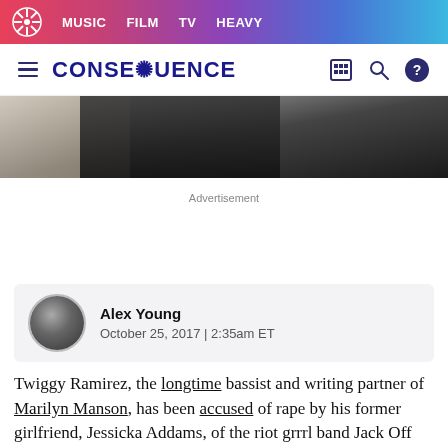MUSIC  FILM  TV  HEAVY
CONSEQUENCE
[Figure (photo): Partial view of a person wearing black clothing and a beaded necklace against a light background]
Advertisement
Alex Young
October 25, 2017 | 2:35am ET
Twiggy Ramirez, the longtime bassist and writing partner of Marilyn Manson, has been accused of rape by his former girlfriend, Jessicka Addams, of the riot grrrl band Jack Off Jill. In light of the